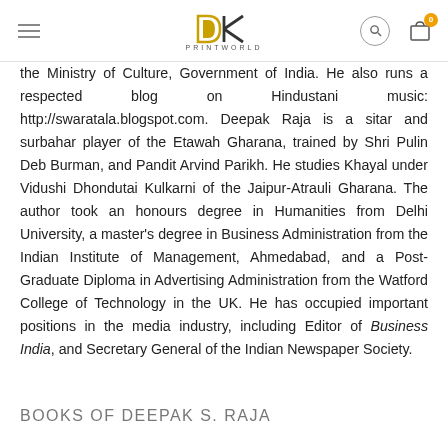DK PRINTWORLD
the Ministry of Culture, Government of India. He also runs a respected blog on Hindustani music: http://swaratala.blogspot.com. Deepak Raja is a sitar and surbahar player of the Etawah Gharana, trained by Shri Pulin Deb Burman, and Pandit Arvind Parikh. He studies Khayal under Vidushi Dhondutai Kulkarni of the Jaipur-Atrauli Gharana. The author took an honours degree in Humanities from Delhi University, a master's degree in Business Administration from the Indian Institute of Management, Ahmedabad, and a Post-Graduate Diploma in Advertising Administration from the Watford College of Technology in the UK. He has occupied important positions in the media industry, including Editor of Business India, and Secretary General of the Indian Newspaper Society.
BOOKS OF DEEPAK S. RAJA